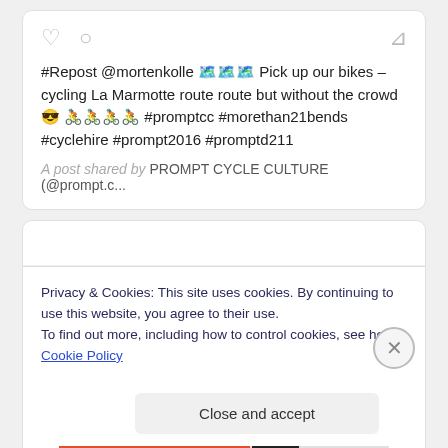[Figure (screenshot): Social media post icons: heart, comment bubble (left), bookmark (right)]
#Repost @mortenkolle 🗺️🗺️🗺️ Pick up our bikes – cycling La Marmotte route route but without the crowd 😎🚴🚴🚴🚴 #promptcc #morethan21bends #cyclehire #prompt2016 #promptd211
A post shared by PROMPT CYCLE CULTURE (@prompt.c...
Privacy & Cookies: This site uses cookies. By continuing to use this website, you agree to their use.
To find out more, including how to control cookies, see here: Cookie Policy
Close and accept